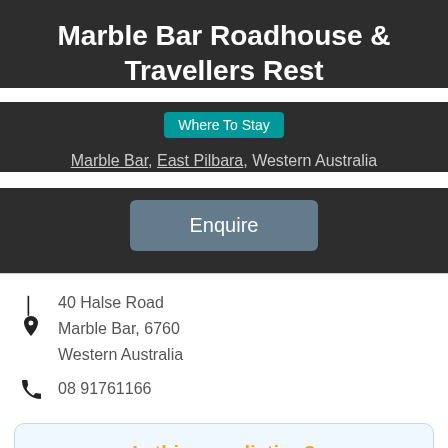Marble Bar Roadhouse & Travellers Rest
Where To Stay | Marble Bar, East Pilbara, Western Australia
Enquire
40 Halse Road
Marble Bar, 6760
Western Australia
08 91761166
Is this your listing?
Enjoy 6 months free Premium features on us
during these tough tourism times